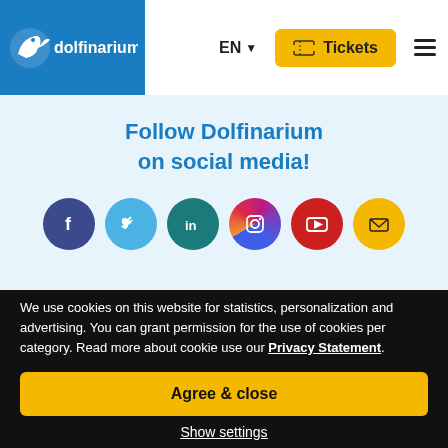dolfinarium | EN | Tickets
Follow Dolfinarium on social media!
[Figure (infographic): Row of six social media icon circles: Facebook (dark blue), Twitter (light blue), LinkedIn (teal), Instagram (gradient purple-red-orange), YouTube (red), Email (yellow)]
Book your visit!
We use cookies on this website for statistics, personalization and advertising. You can grant permission for the use of cookies per category. Read more about cookie use our Privacy Statement.
Agree & close
Show settings
Explore the park